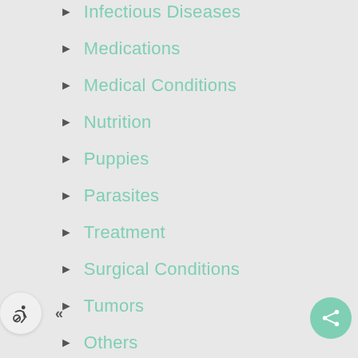Infectious Diseases
Medications
Medical Conditions
Nutrition
Puppies
Parasites
Treatment
Surgical Conditions
Tumors
Others
Zoonosis & Human Health